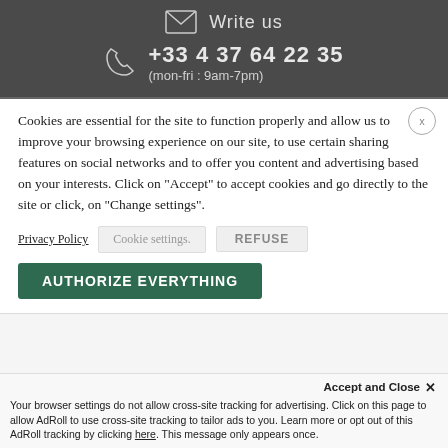Write us
+33 4 37 64 22 35 (mon-fri : 9am-7pm)
Cookies are essential for the site to function properly and allow us to improve your browsing experience on our site, to use certain sharing features on social networks and to offer you content and advertising based on your interests. Click on "Accept" to accept cookies and go directly to the site or click, on "Change settings".
Privacy Policy   Cookie settings.   REFUSE
AUTHORIZE EVERYTHING
Accept and Close ✕
Your browser settings do not allow cross-site tracking for advertising. Click on this page to allow AdRoll to use cross-site tracking to tailor ads to you. Learn more or opt out of this AdRoll tracking by clicking here. This message only appears once.